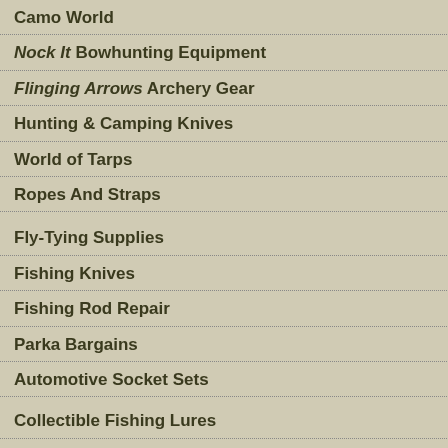Camo World
Nock It Bowhunting Equipment
Flinging Arrows Archery Gear
Hunting & Camping Knives
World of Tarps
Ropes And Straps
Fly-Tying Supplies
Fishing Knives
Fishing Rod Repair
Parka Bargains
Automotive Socket Sets
Collectible Fishing Lures
Antique Fishing Tackle
Antique & Vintage Globes
Vintage Camp Stoves
Boy Scout Supplies
Canine Collectibles
[Figure (photo): Product photo (partially visible at top right)]
Buy Now »
[Figure (photo): Moose skull/antler mount taxidermy on diamond-shaped wooden plaque, against grey background]
Buy Now »
[Figure (photo): The Hideaway sign with moose and tree silhouettes, partially visible]